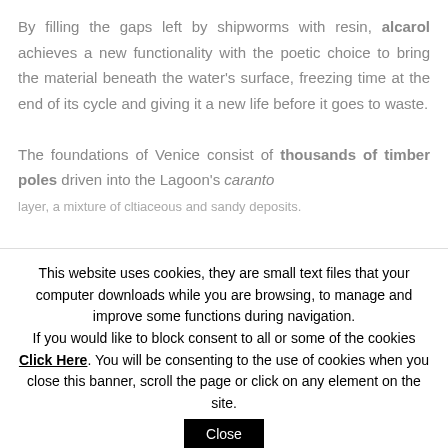By filling the gaps left by shipworms with resin, alcarol achieves a new functionality with the poetic choice to bring the material beneath the water's surface, freezing time at the end of its cycle and giving it a new life before it goes to waste.

The foundations of Venice consist of thousands of timber poles driven into the Lagoon's caranto layer, a mixture of cltiaceous and sandy deposits.
This website uses cookies, they are small text files that your computer downloads while you are browsing, to manage and improve some functions during navigation. If you would like to block consent to all or some of the cookies Click Here. You will be consenting to the use of cookies when you close this banner, scroll the page or click on any element on the site.